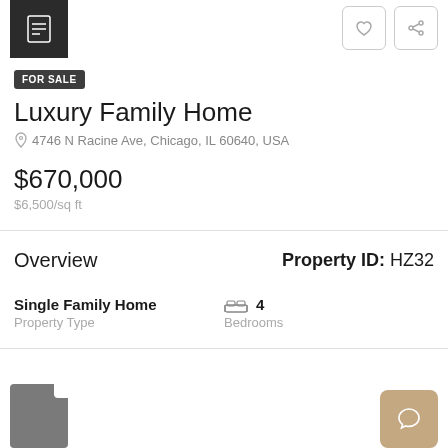[Figure (logo): Dark square logo box with document/home icon]
[Figure (other): Heart and share icon buttons top right]
FOR SALE
Luxury Family Home
4746 N Racine Ave, Chicago, IL 60640, USA
$670,000
$6,500/sq ft
Overview
Property ID: HZ32
Single Family Home
Property Type
4
Bedrooms
[Figure (other): Document/file grey icon bottom left]
[Figure (other): Chat button tan/beige color bottom right]